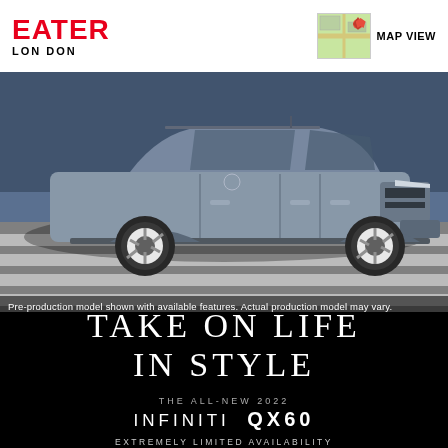EATER LONDON
MAP VIEW
[Figure (photo): Side view of a silver/grey Infiniti QX60 SUV driving over a crosswalk, shot from street level against an urban background]
Pre-production model shown with available features. Actual production model may vary.
TAKE ON LIFE IN STYLE
THE ALL-NEW 2022
INFINITI QX60
EXTREMELY LIMITED AVAILABILITY
Contact your retailer for inventory information